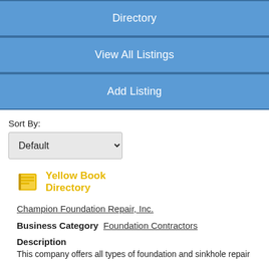Directory
View All Listings
Add Listing
Sort By:
Default
[Figure (logo): Yellow Book Directory logo with a gold/yellow book icon and text 'Yellow Book Directory' in gold/yellow color]
Champion Foundation Repair, Inc.
Business Category   Foundation Contractors
Description
This company offers all types of foundation and sinkhole repair